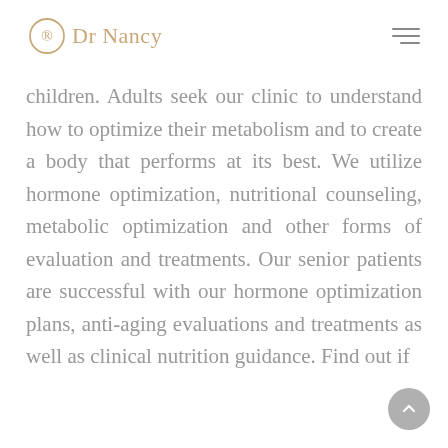Dr Nancy
children. Adults seek our clinic to understand how to optimize their metabolism and to create a body that performs at its best. We utilize hormone optimization, nutritional counseling, metabolic optimization and other forms of evaluation and treatments. Our senior patients are successful with our hormone optimization plans, anti-aging evaluations and treatments as well as clinical nutrition guidance. Find out if